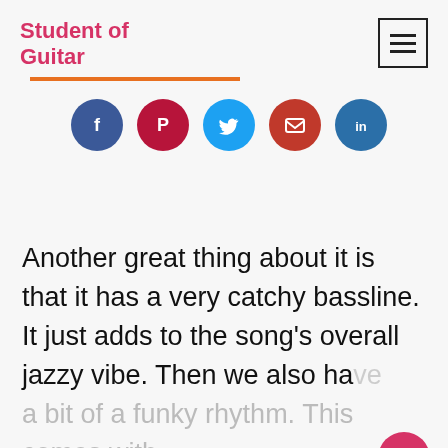Student of Guitar
[Figure (infographic): Five social share buttons (Facebook, Pinterest, Twitter, Email, LinkedIn) as colored circles with white icons]
Another great thing about it is that it has a very catchy bassline. It just adds to the song's overall jazzy vibe. Then we also have a bit of a funky rhythm. This comes with